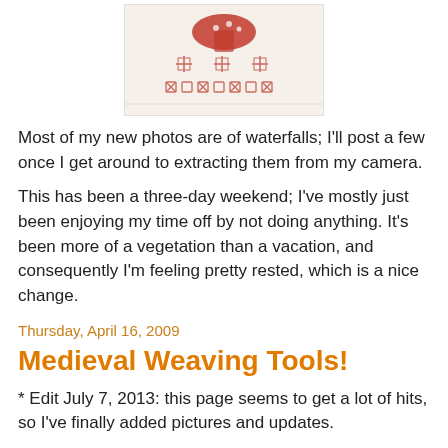[Figure (photo): Embroidery or cross-stitch piece showing red/pink decorative pattern on white fabric — mushroom or floral motif with geometric border]
Most of my new photos are of waterfalls; I'll post a few once I get around to extracting them from my camera.
This has been a three-day weekend; I've mostly just been enjoying my time off by not doing anything. It's been more of a vegetation than a vacation, and consequently I'm feeling pretty rested, which is a nice change.
Laura at 4:41 PM    No comments:
Thursday, April 16, 2009
Medieval Weaving Tools!
* Edit July 7, 2013: this page seems to get a lot of hits, so I've finally added pictures and updates.